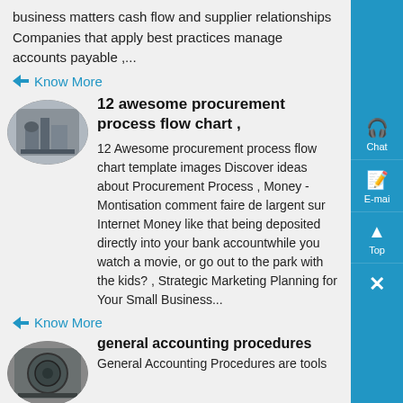business matters cash flow and supplier relationships Companies that apply best practices manage accounts payable ,...
Know More
12 awesome procurement process flow chart ,
12 Awesome procurement process flow chart template images Discover ideas about Procurement Process , Money - Montisation comment faire de largent sur Internet Money like that being deposited directly into your bank accountwhile you watch a movie, or go out to the park with the kids? , Strategic Marketing Planning for Your Small Business...
Know More
general accounting procedures
General Accounting Procedures are tools
[Figure (photo): Oval-framed photo of industrial equipment/machinery]
[Figure (photo): Oval-framed photo of industrial equipment/machinery at bottom]